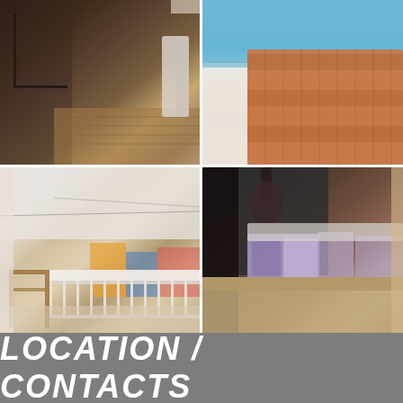[Figure (photo): Four-photo grid collage: top-left shows a modern bathroom with walk-in shower and wooden floor; top-right shows a rooftop with terracotta tiles and ocean view; bottom-left shows a balcony with wooden chairs and colorful street view; bottom-right shows a hotel bedroom with decorative pillows and pendant lamp.]
LOCATION / CONTACTS